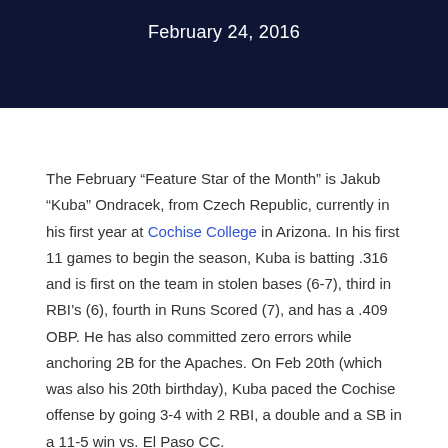February 24, 2016
The February “Feature Star of the Month” is Jakub “Kuba” Ondracek, from Czech Republic, currently in his first year at Cochise College in Arizona. In his first 11 games to begin the season, Kuba is batting .316 and is first on the team in stolen bases (6-7), third in RBI’s (6), fourth in Runs Scored (7), and has a .409 OBP. He has also committed zero errors while anchoring 2B for the Apaches. On Feb 20th (which was also his 20th birthday), Kuba paced the Cochise offense by going 3-4 with 2 RBI, a double and a SB in a 11-5 win vs. El Paso CC.
Kuba started playing baseball
[Figure (photo): Partial photo showing a baseball in the air against a green blurred background]